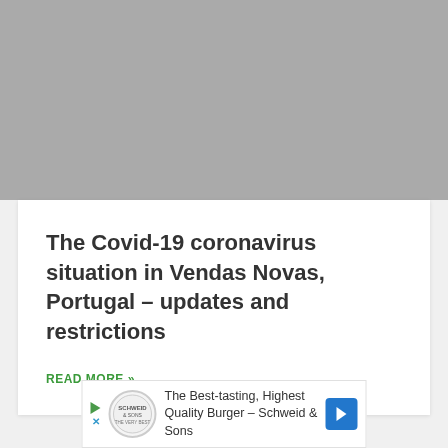[Figure (photo): Gray placeholder image at top of page]
The Covid-19 coronavirus situation in Vendas Novas, Portugal – updates and restrictions
READ MORE »
[Figure (other): Advertisement banner: The Best-tasting, Highest Quality Burger - Schweid & Sons]